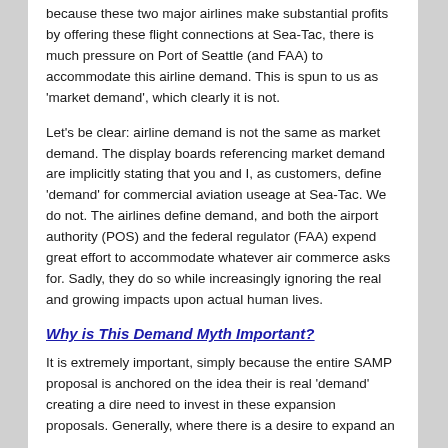because these two major airlines make substantial profits by offering these flight connections at Sea-Tac, there is much pressure on Port of Seattle (and FAA) to accommodate this airline demand. This is spun to us as 'market demand', which clearly it is not.
Let's be clear: airline demand is not the same as market demand. The display boards referencing market demand are implicitly stating that you and I, as customers, define 'demand' for commercial aviation useage at Sea-Tac. We do not. The airlines define demand, and both the airport authority (POS) and the federal regulator (FAA) expend great effort to accommodate whatever air commerce asks for. Sadly, they do so while increasingly ignoring the real and growing impacts upon actual human lives.
Why is This Demand Myth Important?
It is extremely important, simply because the entire SAMP proposal is anchored on the idea their is real 'demand' creating a dire need to invest in these expansion proposals. Generally, where there is a desire to expand an